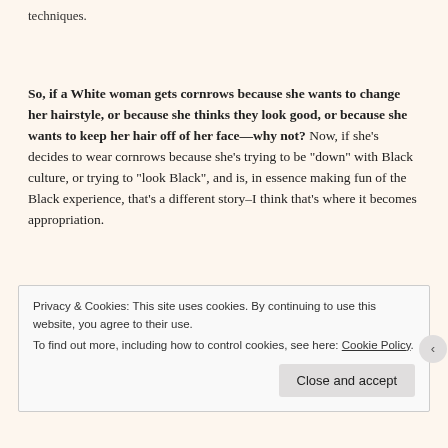techniques.
So, if a White woman gets cornrows because she wants to change her hairstyle, or because she thinks they look good, or because she wants to keep her hair off of her face—why not? Now, if she's decides to wear cornrows because she's trying to be "down" with Black culture, or trying to "look Black", and is, in essence making fun of the Black experience, that's a different story–I think that's where it becomes appropriation.
Privacy & Cookies: This site uses cookies. By continuing to use this website, you agree to their use.
To find out more, including how to control cookies, see here: Cookie Policy
Close and accept